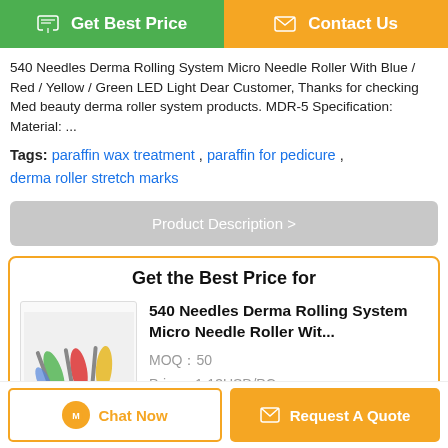[Figure (screenshot): Green 'Get Best Price' button on the left and orange 'Contact Us' button on the right at the top of the page]
540 Needles Derma Rolling System Micro Needle Roller With Blue / Red / Yellow / Green LED Light Dear Customer, Thanks for checking Med beauty derma roller system products. MDR-5 Specification: Material: ...
Tags: paraffin wax treatment , paraffin for pedicure , derma roller stretch marks
Product Description >
Get the Best Price for
[Figure (photo): Product image showing multiple derma rollers with colored LED lights (green, red, yellow)]
540 Needles Derma Rolling System Micro Needle Roller Wit...
MOQ：50
Price：1-13USD/PC
Continue
Chat Now
Request A Quote